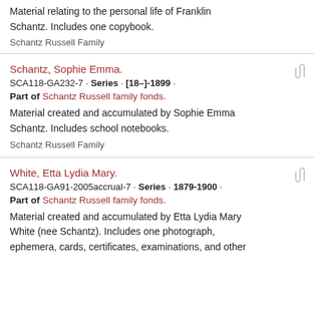Material relating to the personal life of Franklin Schantz. Includes one copybook.
Schantz Russell Family
Schantz, Sophie Emma.
SCA118-GA232-7 · Series · [18–]-1899 ·
Part of Schantz Russell family fonds.
Material created and accumulated by Sophie Emma Schantz. Includes school notebooks.
Schantz Russell Family
White, Etta Lydia Mary.
SCA118-GA91-2005accrual-7 · Series · 1879-1900 ·
Part of Schantz Russell family fonds.
Material created and accumulated by Etta Lydia Mary White (nee Schantz). Includes one photograph, ephemera, cards, certificates, examinations, and other